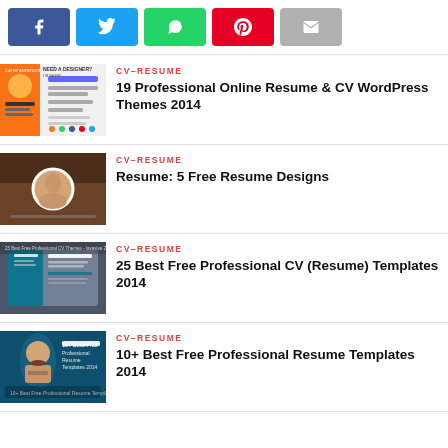[Figure (infographic): Row of social share buttons: Facebook (blue), Twitter (light blue), WhatsApp (green), Pinterest (red), Email (gray)]
[Figure (photo): Thumbnail: colorful CV/resume design with gradient background]
CV–RESUME
19 Professional Online Resume & CV WordPress Themes 2014
[Figure (photo): Thumbnail: person portrait on dark book background]
CV–RESUME
Resume: 5 Free Resume Designs
[Figure (photo): Thumbnail: professional CV template in teal and dark colors]
CV–RESUME
25 Best Free Professional CV (Resume) Templates 2014
[Figure (photo): Thumbnail: professional resume template with illustrated person]
CV–RESUME
10+ Best Free Professional Resume Templates 2014